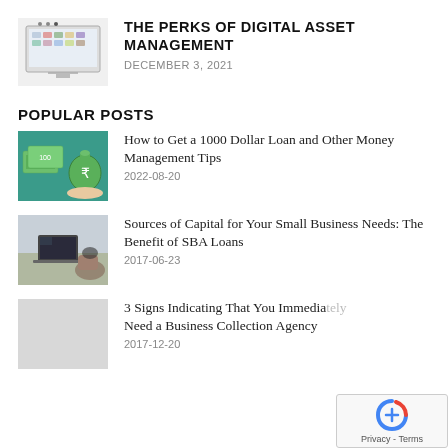[Figure (photo): Screenshot of a digital asset management interface on a monitor]
THE PERKS OF DIGITAL ASSET MANAGEMENT
DECEMBER 3, 2021
POPULAR POSTS
[Figure (photo): Hands holding Indian currency notes and a money bag with rupee symbol]
How to Get a 1000 Dollar Loan and Other Money Management Tips
2022-08-20
[Figure (photo): Office desk with laptop and person working]
Sources of Capital for Your Small Business Needs: The Benefit of SBA Loans
2017-06-23
[Figure (photo): Light gray placeholder image]
3 Signs Indicating That You Immediately Need a Business Collection Agency
2017-12-20